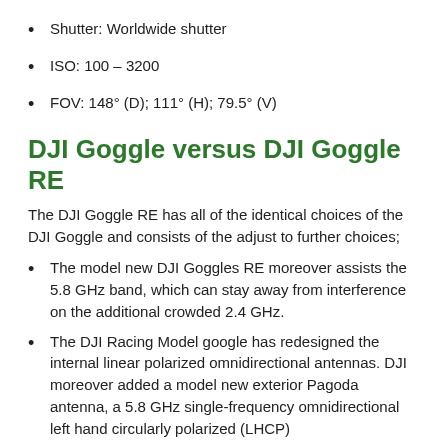Shutter: Worldwide shutter
ISO: 100 – 3200
FOV: 148° (D); 111° (H); 79.5° (V)
DJI Goggle versus DJI Goggle RE
The DJI Goggle RE has all of the identical choices of the DJI Goggle and consists of the adjust to further choices;
The model new DJI Goggles RE moreover assists the 5.8 GHz band, which can stay away from interference on the additional crowded 2.4 GHz.
The DJI Racing Model google has redesigned the internal linear polarized omnidirectional antennas. DJI moreover added a model new exterior Pagoda antenna, a 5.8 GHz single-frequency omnidirectional left hand circularly polarized (LHCP)